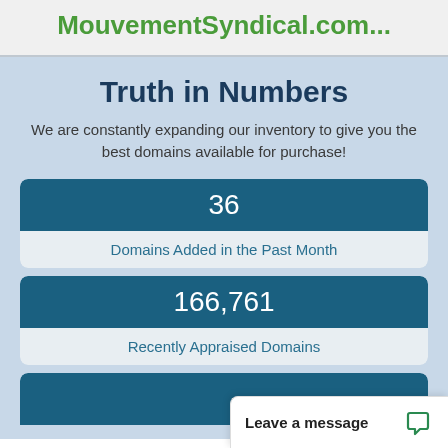MouvementSyndical.com...
Truth in Numbers
We are constantly expanding our inventory to give you the best domains available for purchase!
36
Domains Added in the Past Month
166,761
Recently Appraised Domains
Leave a message